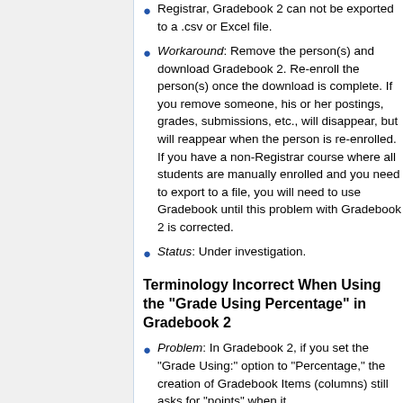Registrar, Gradebook 2 can not be exported to a .csv or Excel file.
Workaround: Remove the person(s) and download Gradebook 2. Re-enroll the person(s) once the download is complete. If you remove someone, his or her postings, grades, submissions, etc., will disappear, but will reappear when the person is re-enrolled. If you have a non-Registrar course where all students are manually enrolled and you need to export to a file, you will need to use Gradebook until this problem with Gradebook 2 is corrected.
Status: Under investigation.
Terminology Incorrect When Using the "Grade Using Percentage" in Gradebook 2
Problem: In Gradebook 2, if you set the "Grade Using:" option to "Percentage," the creation of Gradebook Items (columns) still asks for "points" when it